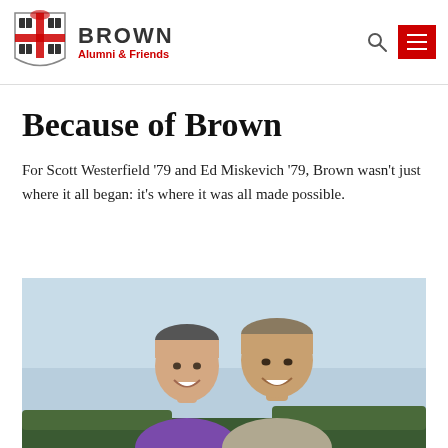Brown Alumni & Friends
Because of Brown
For Scott Westerfield '79 and Ed Miskevich '79, Brown wasn't just where it all began: it's where it was all made possible.
[Figure (photo): Two smiling men photographed outdoors, one in a purple shirt, against a light blue sky background with greenery.]